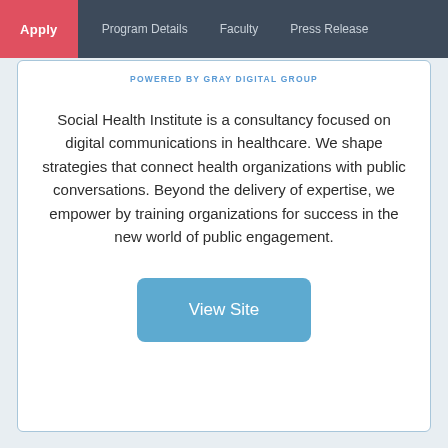Apply  Program Details  Faculty  Press Release
POWERED BY GRAY DIGITAL GROUP
Social Health Institute is a consultancy focused on digital communications in healthcare. We shape strategies that connect health organizations with public conversations. Beyond the delivery of expertise, we empower by training organizations for success in the new world of public engagement.
View Site